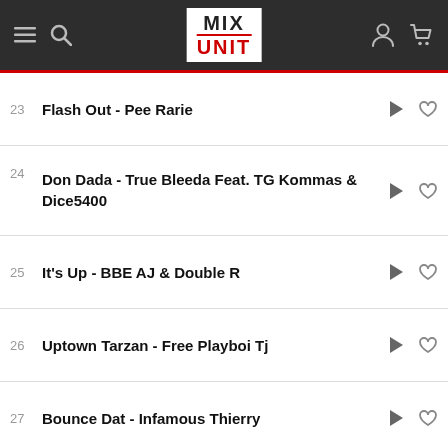MIX UNIT
23 Flash Out - Pee Rarie
24 Don Dada - True Bleeda Feat. TG Kommas & Dice5400
25 It's Up - BBE AJ & Double R
26 Uptown Tarzan - Free Playboi Tj
27 Bounce Dat - Infamous Thierry